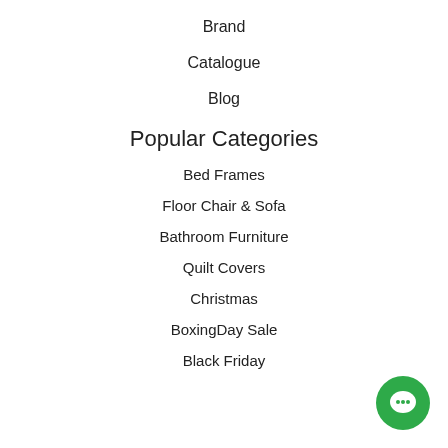Brand
Catalogue
Blog
Popular Categories
Bed Frames
Floor Chair & Sofa
Bathroom Furniture
Quilt Covers
Christmas
BoxingDay Sale
Black Friday
[Figure (illustration): Green circular chat button with white speech bubble icon, positioned bottom-right]